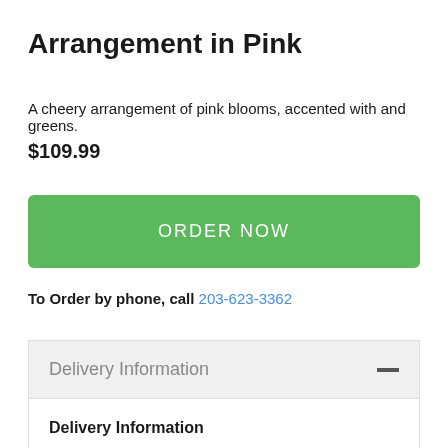Arrangement in Pink
A cheery arrangement of pink blooms, accented with and greens.
$109.99
ORDER NOW
To Order by phone, call 203-623-3362
Delivery Information
Delivery Information